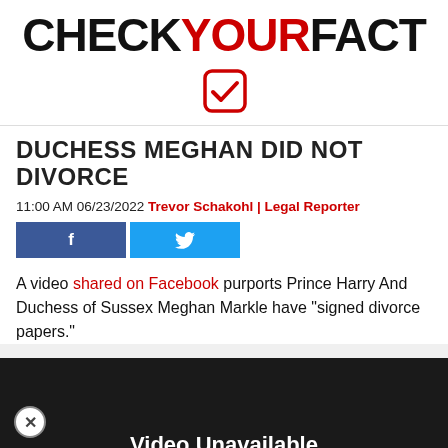[Figure (logo): CheckYourFact logo with red and white checkmark icon in a red rounded square]
DUCHESS MEGHAN DID NOT DIVORCE
11:00 AM 06/23/2022 Trevor Schakohl | Legal Reporter
[Figure (other): Facebook and Twitter social share buttons]
A video shared on Facebook purports Prince Harry And Duchess of Sussex Meghan Markle have “signed divorce papers.”
[Figure (screenshot): Embedded video player showing 'Video Unavailable' message: 'This video may no longer exist, or you don’t have view it.' with Learn more link]